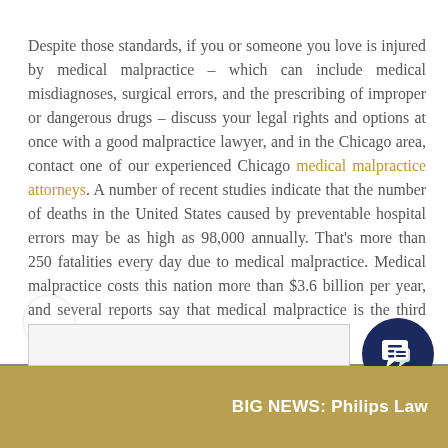Despite those standards, if you or someone you love is injured by medical malpractice – which can include medical misdiagnoses, surgical errors, and the prescribing of improper or dangerous drugs – discuss your legal rights and options at once with a good malpractice lawyer, and in the Chicago area, contact one of our experienced Chicago medical malpractice attorneys. A number of recent studies indicate that the number of deaths in the United States caused by preventable hospital errors may be as high as 98,000 annually. That's more than 250 fatalities every day due to medical malpractice. Medical malpractice costs this nation more than $3.6 billion per year, and several reports say that medical malpractice is the third leading cause of death in the United States.
[Figure (other): Dark navy blue circular chat bubble icon with speech bubble lines inside]
BIG NEWS: Philips Law